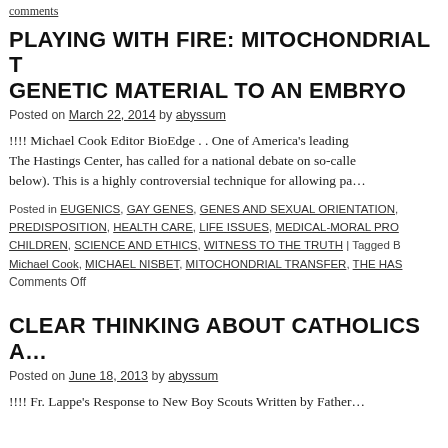comments
PLAYING WITH FIRE: MITOCHONDRIAL T… GENETIC MATERIAL TO AN EMBRYO
Posted on March 22, 2014 by abyssum
!!!! Michael Cook Editor BioEdge . . One of America's leading… The Hastings Center, has called for a national debate on so-calle… below). This is a highly controversial technique for allowing pa…
Posted in EUGENICS, GAY GENES, GENES AND SEXUAL ORIENTATION, … PREDISPOSITION, HEALTH CARE, LIFE ISSUES, MEDICAL-MORAL PRO… CHILDREN, SCIENCE AND ETHICS, WITNESS TO THE TRUTH | Tagged B… Michael Cook, MICHAEL NISBET, MITOCHONDRIAL TRANSFER, THE HAS…
Comments Off
CLEAR THINKING ABOUT CATHOLICS A…
Posted on June 18, 2013 by abyssum
!!!! Fr. Lappe's Response to New Boy Scouts Written by Father…